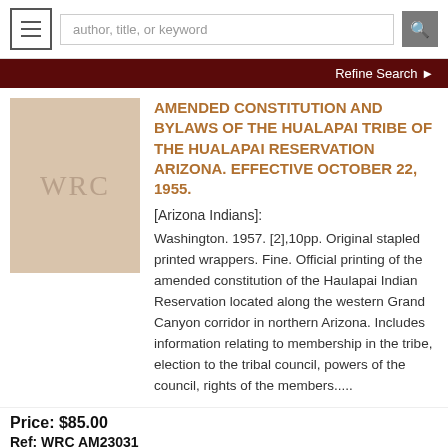author, title, or keyword
Refine Search
[Figure (illustration): Book cover placeholder with WRC text on beige background]
AMENDED CONSTITUTION AND BYLAWS OF THE HUALAPAI TRIBE OF THE HUALAPAI RESERVATION ARIZONA. EFFECTIVE OCTOBER 22, 1955.
[Arizona Indians]:
Washington. 1957. [2],10pp. Original stapled printed wrappers. Fine. Official printing of the amended constitution of the Haulapai Indian Reservation located along the western Grand Canyon corridor in northern Arizona. Includes information relating to membership in the tribe, election to the tribal council, powers of the council, rights of the members.....
Price: $85.00
Ref: WRC AM23031